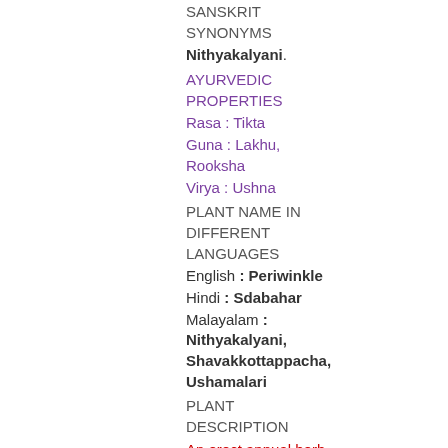SANSKRIT SYNONYMS
Nithyakalyani.
AYURVEDIC PROPERTIES
Rasa : Tikta
Guna : Lakhu, Rooksha
Virya : Ushna
PLANT NAME IN DIFFERENT LANGUAGES
English : Periwinkle
Hindi : Sdabahar
Malayalam : Nithyakalyani, Shavakkottappacha, Ushamalari
PLANT DESCRIPTION
An erect annual herb grows up to a height